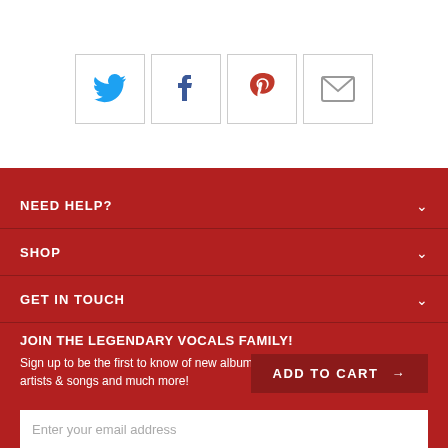[Figure (infographic): Social sharing icons: Twitter (blue bird), Facebook (dark blue f), Pinterest (red P), Email (envelope)]
NEED HELP?
SHOP
GET IN TOUCH
JOIN THE LEGENDARY VOCALS FAMILY!
Sign up to be the first to know of new albums and to request and decide new artists & songs and much more!
ADD TO CART →
Enter your email address